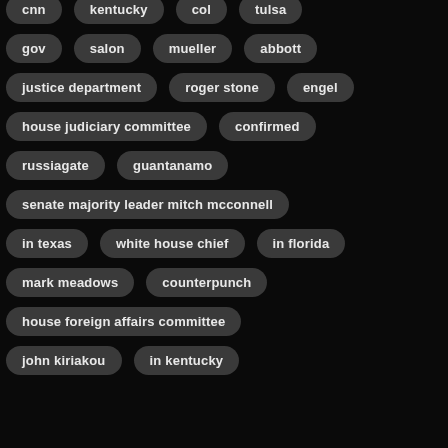cnn
kentucky
col
tulsa
gov
salon
mueller
abbott
justice department
roger stone
engel
house judiciary committee
confirmed
russiagate
guantanamo
senate majority leader mitch mcconnell
in texas
white house chief
in florida
mark meadows
counterpunch
house foreign affairs committee
john kiriakou
in kentucky